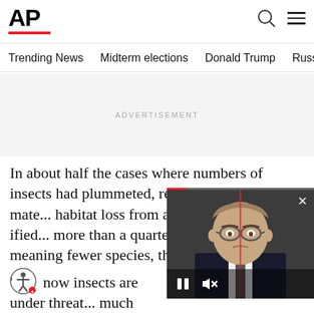[Figure (logo): AP (Associated Press) logo with red underline bar]
Trending News | Midterm elections | Donald Trump | Russia-Ukr
ADVERTISEMENT
In about half the cases where numbers of insects had plummeted, researchers found cli... habitat loss from agriculture magn... more than a quarter of the cases o... meaning fewer species, the same d...
[Figure (screenshot): Video overlay showing a man with glasses and suit (appears to be a politician), with playback controls (pause button, mute button) and a red progress indicator. Close (X) button in top right.]
' ...now insects are under threa... much bigger handle on what they a...